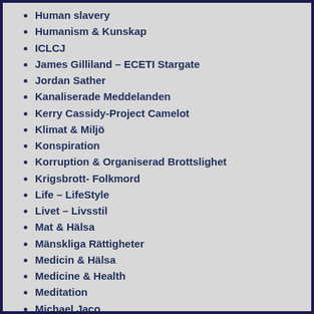Human slavery
Humanism & Kunskap
ICLCJ
James Gilliland – ECETI Stargate
Jordan Sather
Kanaliserade Meddelanden
Kerry Cassidy-Project Camelot
Klimat & Miljö
Konspiration
Korruption & Organiserad Brottslighet
Krigsbrott- Folkmord
Life – LifeStyle
Livet – Livsstil
Mat & Hälsa
Mänskliga Rättigheter
Medicin & Hälsa
Medicine & Health
Meditation
Michael Jaco
Miljö och Hälsa
Monsanto – Bayer – Syngenta
Narkolepsi
Natural News
NaturalHealth365
NESARA-GESARA